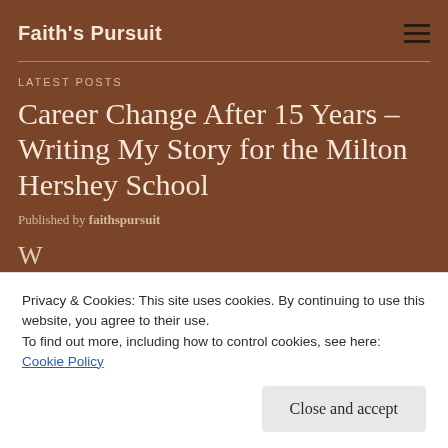Faith's Pursuit
LATEST POSTS
Career Change After 15 Years – Writing My Story for the Milton Hershey School
Published by faithspursuit
Privacy & Cookies: This site uses cookies. By continuing to use this website, you agree to their use.
To find out more, including how to control cookies, see here: Cookie Policy
Close and accept